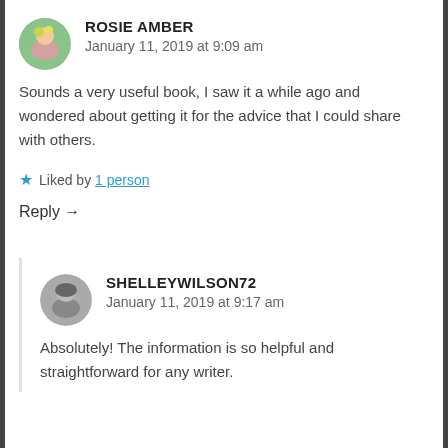ROSIE AMBER
January 11, 2019 at 9:09 am
Sounds a very useful book, I saw it a while ago and wondered about getting it for the advice that I could share with others.
Liked by 1 person
Reply →
SHELLEYWILSON72
January 11, 2019 at 9:17 am
Absolutely! The information is so helpful and straightforward for any writer.